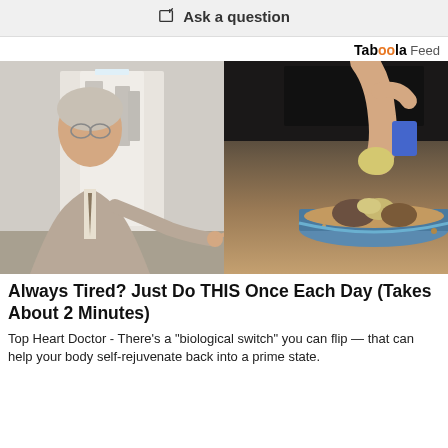Ask a question
Taboola Feed
[Figure (photo): Split image: left side shows an older male doctor in a suit pointing at something; right side shows a hand holding a piece of food over a dish with sand and objects]
Always Tired? Just Do THIS Once Each Day (Takes About 2 Minutes)
Top Heart Doctor - There's a "biological switch" you can flip — that can help your body self-rejuvenate back into a prime state.